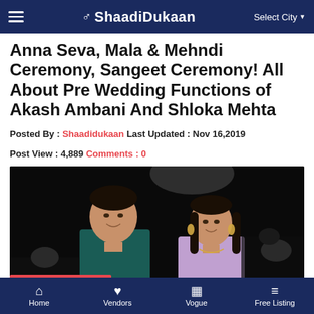ShaadiDukaan — Select City
Anna Seva, Mala & Mehndi Ceremony, Sangeet Ceremony! All About Pre Wedding Functions of Akash Ambani And Shloka Mehta
Posted By : Shaadidukaan Last Updated : Nov 16,2019
Post View : 4,889 Comments : 0
[Figure (photo): Photo of Akash Ambani and Shloka Mehta at a pre-wedding event, standing together and smiling, with a dark background. A red 'Free Quotation' button overlay is in the bottom-left of the image.]
Home | Vendors | Vogue | Free Listing